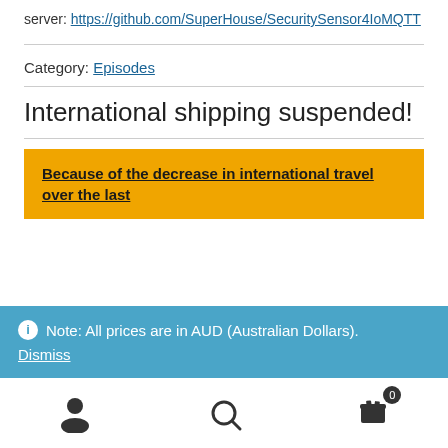server: https://github.com/SuperHouse/SecuritySensor4IoMQTT
Category: Episodes
International shipping suspended!
Because of the decrease in international travel over the last
Note: All prices are in AUD (Australian Dollars).
Dismiss